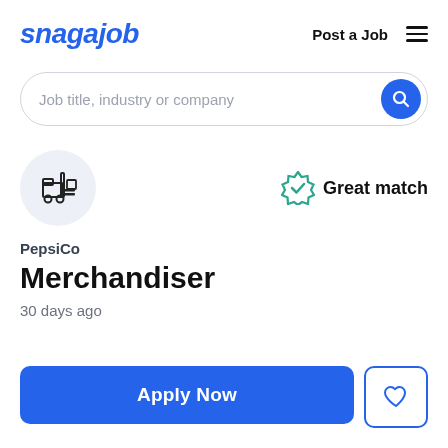snagajob
Post a Job
Job title, industry or company
PepsiCo
Merchandiser
30 days ago
Great match
Apply Now